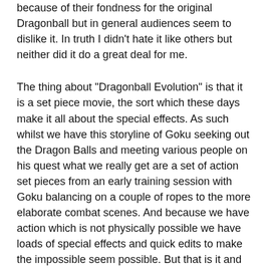because of their fondness for the original Dragonball but in general audiences seem to dislike it. In truth I didn't hate it like others but neither did it do a great deal for me.
The thing about "Dragonball Evolution" is that it is a set piece movie, the sort which these days make it all about the special effects. As such whilst we have this storyline of Goku seeking out the Dragon Balls and meeting various people on his quest what we really get are a set of action set pieces from an early training session with Goku balancing on a couple of ropes to the more elaborate combat scenes. And because we have action which is not physically possible we have loads of special effects and quick edits to make the impossible seem possible. But that is it and whilst the cast have an appealing look the characters are uninteresting and like the movie are all about their looks.
What this all boils down to is that "Dragonball Evolution" might be entertaining for say 10 year olds who will enjoy all the special effects and out of this world action but for anyone else, especially those who are fans of Dragonball, they are likely to find this a shallow visual experience